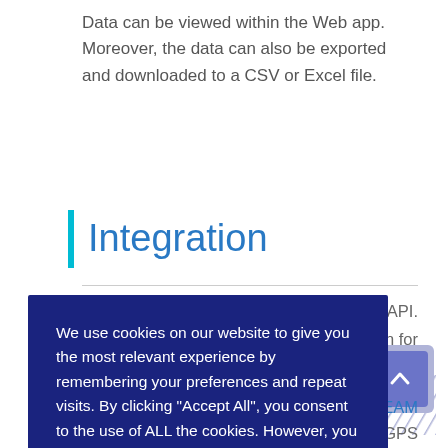Data can be viewed within the Web app. Moreover, the data can also be exported and downloaded to a CSV or Excel file.
Integration
Integrate with external systems and platforms. BEAM ... ive API. ... a solution for ...
We use cookies on our website to give you the most relevant experience by remembering your preferences and repeat visits. By clicking “Accept All”, you consent to the use of ALL the cookies. However, you may visit “Cookie Settings” to provide a controlled consent.
Cookie Settings | Accept All
... by our BEAM ... ll featured GPS ...